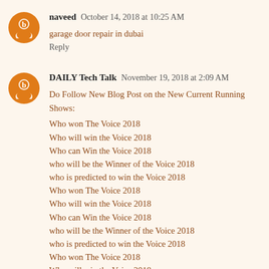naveed  October 14, 2018 at 10:25 AM
garage door repair in dubai
Reply
DAILY Tech Talk  November 19, 2018 at 2:09 AM
Do Follow New Blog Post on the New Current Running Shows:
Who won The Voice 2018
Who will win the Voice 2018
Who can Win the Voice 2018
who will be the Winner of the Voice 2018
who is predicted to win the Voice 2018
Who won The Voice 2018
Who will win the Voice 2018
Who can Win the Voice 2018
who will be the Winner of the Voice 2018
who is predicted to win the Voice 2018
Who won The Voice 2018
Who will win the Voice 2018
Who can Win the Voice 2018